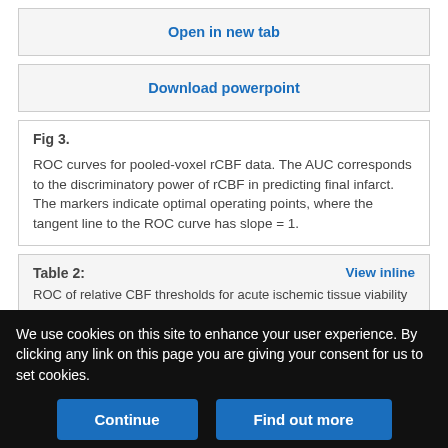Open in new tab
Download powerpoint
Fig 3.
ROC curves for pooled-voxel rCBF data. The AUC corresponds to the discriminatory power of rCBF in predicting final infarct. The markers indicate optimal operating points, where the tangent line to the ROC curve has slope = 1.
Table 2:
ROC of relative CBF thresholds for acute ischemic tissue viability
View inline
We use cookies on this site to enhance your user experience. By clicking any link on this page you are giving your consent for us to set cookies.